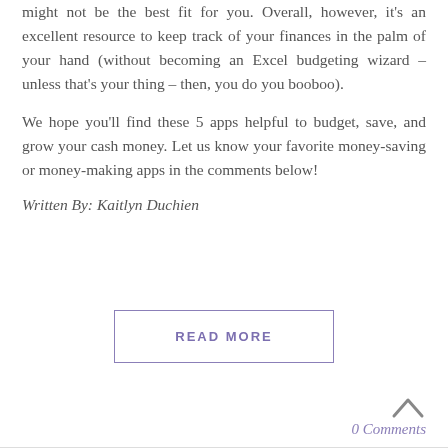might not be the best fit for you. Overall, however, it's an excellent resource to keep track of your finances in the palm of your hand (without becoming an Excel budgeting wizard – unless that's your thing – then, you do you booboo).
We hope you'll find these 5 apps helpful to budget, save, and grow your cash money. Let us know your favorite money-saving or money-making apps in the comments below!
Written By: Kaitlyn Duchien
READ MORE
0 Comments